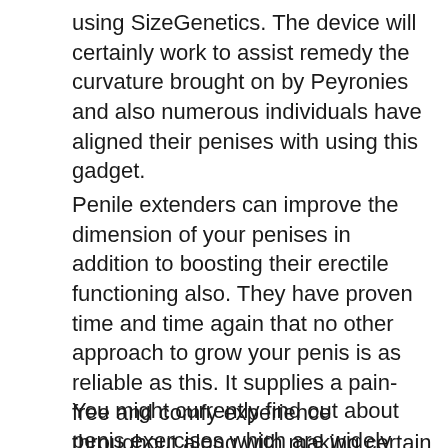using SizeGenetics. The device will certainly work to assist remedy the curvature brought on by Peyronies and also numerous individuals have aligned their penises with using this gadget.
Penile extenders can improve the dimension of your penises in addition to boosting their erectile functioning also. They have proven time and time again that no other approach to grow your penis is as reliable as this. It supplies a pain-free and comfy experience throughout along with making certain that the product features a plan that guarantees results.
You might currently find out about penis exercises which are widely understood to